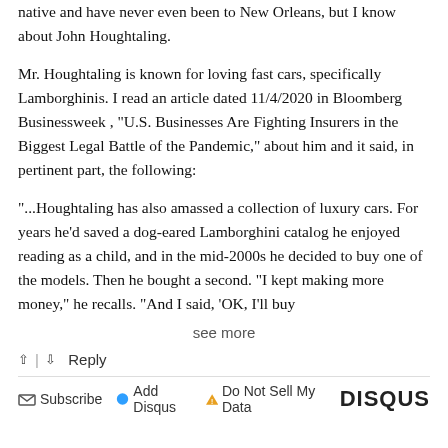native and have never even been to New Orleans, but I know about John Houghtaling.
Mr. Houghtaling is known for loving fast cars, specifically Lamborghinis. I read an article dated 11/4/2020 in Bloomberg Businessweek , "U.S. Businesses Are Fighting Insurers in the Biggest Legal Battle of the Pandemic," about him and it said, in pertinent part, the following:
"...Houghtaling has also amassed a collection of luxury cars. For years he'd saved a dog-eared Lamborghini catalog he enjoyed reading as a child, and in the mid-2000s he decided to buy one of the models. Then he bought a second. "I kept making more money," he recalls. "And I said, 'OK, I'll buy...
see more
↑ | ↓  Reply
Subscribe  Add Disqus  Do Not Sell My Data    DISQUS